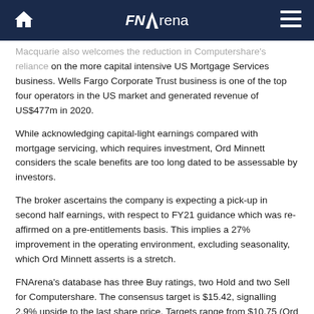FNArena
Macquarie also welcomes the reduction in Computershare's reliance on the more capital intensive US Mortgage Services business. Wells Fargo Corporate Trust business is one of the top four operators in the US market and generated revenue of US$477m in 2020.
While acknowledging capital-light earnings compared with mortgage servicing, which requires investment, Ord Minnett considers the scale benefits are too long dated to be assessable by investors.
The broker ascertains the company is expecting a pick-up in second half earnings, with respect to FY21 guidance which was re-affirmed on a pre-entitlements basis. This implies a 27% improvement in the operating environment, excluding seasonality, which Ord Minnett asserts is a stretch.
FNArena's database has three Buy ratings, two Hold and two Sell for Computershare. The consensus target is $15.42, signalling 2.9% upside to the last share price. Targets range from $10.75 (Ord Minnett) to $21.00 (Macquarie).